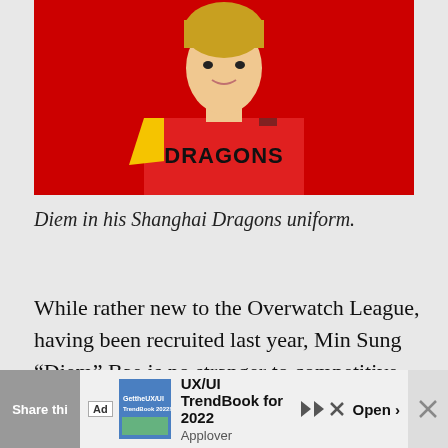[Figure (photo): Young man wearing a Shanghai Dragons esports jersey (red and yellow) against a red background. The jersey has 'DRAGONS' printed on it in large black letters.]
Diem in his Shanghai Dragons uniform.
While rather new to the Overwatch League, having been recruited last year, Min Sung “Diem” Bae is no stranger to competitive Overwatch. Arguably one of the best Hitscan players in China, Diem is best known for his Widowmaker and McCree.
Share thi…
Ad  UX/UI TrendBook for 2022  Applover  Open ›